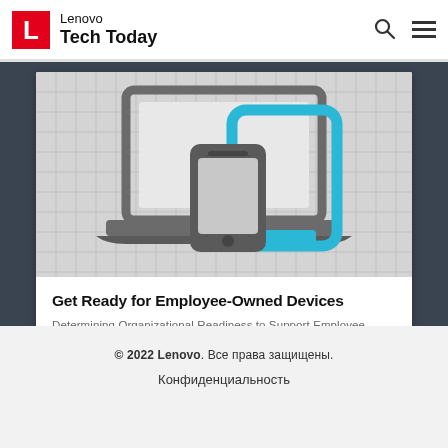Lenovo Tech Today
[Figure (illustration): Illustration showing a laptop (gray outline) with a smartphone (gray) and a tablet-like device with blue accent color, representing employee-owned devices / BYOD concept, on a light gray geometric maze-patterned background.]
Get Ready for Employee-Owned Devices
Determining Organizational Readiness to Support Employee-Owned Devices
© 2022 Lenovo. Все права защищены.
Конфиденциальность